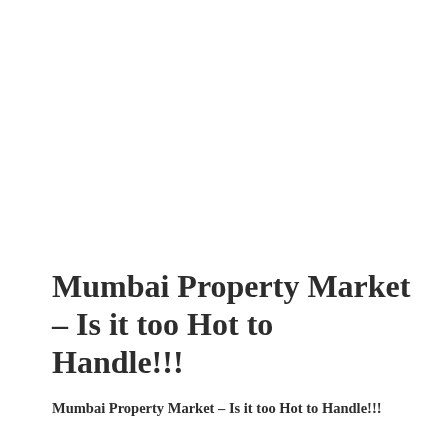Mumbai Property Market – Is it too Hot to Handle!!!
Mumbai Property Market – Is it too Hot to Handle!!!